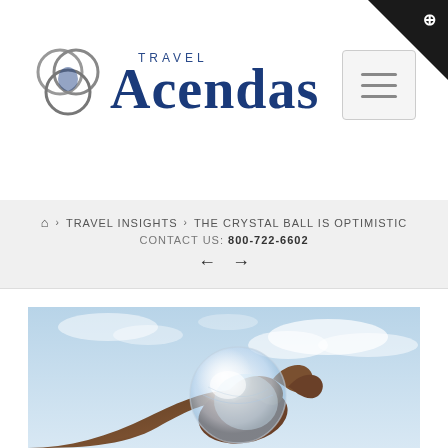[Figure (logo): Acendas Travel logo with overlapping rings and serif text]
🏠 › TRAVEL INSIGHTS › THE CRYSTAL BALL IS OPTIMISTIC
CONTACT US: 800-722-6602
[Figure (photo): A hand holding a clear crystal ball against a blue sky with clouds]